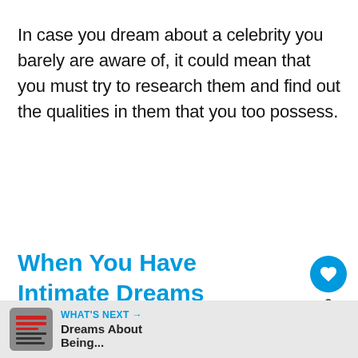In case you dream about a celebrity you barely are aware of, it could mean that you must try to research them and find out the qualities in them that you too possess.
When You Have Intimate Dreams About Person Of The Same Gender
[Figure (screenshot): Like button (heart icon, blue circle) with count '2' and share button below]
[Figure (screenshot): WHAT'S NEXT arrow navigation bar with thumbnail image and text 'Dreams About Being...']